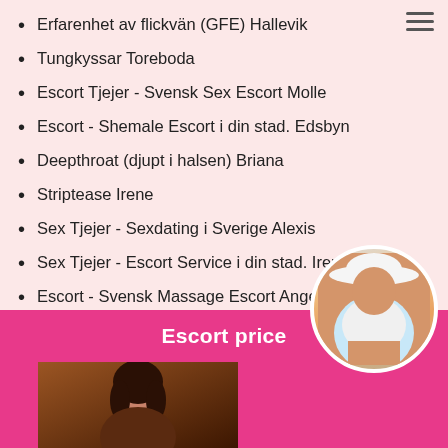Erfarenhet av flickvän (GFE) Hallevik
Tungkyssar Toreboda
Escort Tjejer - Svensk Sex Escort Molle
Escort - Shemale Escort i din stad. Edsbyn
Deepthroat (djupt i halsen) Briana
Striptease Irene
Sex Tjejer - Sexdating i Sverige Alexis
Sex Tjejer - Escort Service i din stad. Irene Alfta
Escort - Svensk Massage Escort Angela
Duscha tillsammans Kira Molkom
Escort price
[Figure (photo): Circular photo of a woman in a white top, positioned at lower right, overlapping the pink banner section]
[Figure (photo): Photo of a dark-haired woman at the bottom of the page within the pink section]